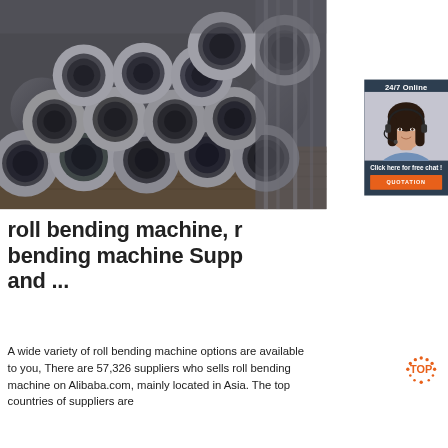[Figure (photo): Steel tubes/pipes stacked together, metallic grey, viewed from the ends showing circular cross-sections]
[Figure (infographic): 24/7 Online support widget with woman wearing headset and 'Click here for free chat!' button and QUOTATION button]
roll bending machine, r... bending machine Supp... and ...
A wide variety of roll bending machine options are available to you, There are 57,326 suppliers who sells roll bending machine on Alibaba.com, mainly located in Asia. The top countries of suppliers are